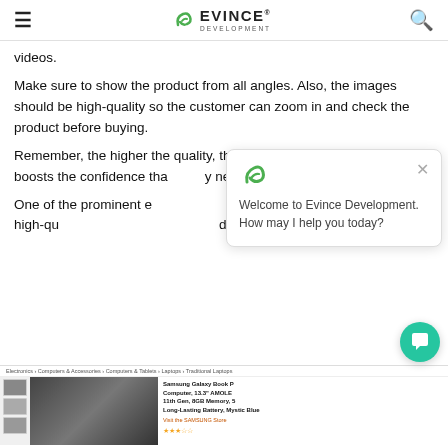Evince Development
videos.
Make sure to show the product from all angles. Also, the images should be high-quality so the customer can zoom in and check the product before buying.
Remember, the higher the quality, the more compelling it is. Also, it boosts the confidence that they need to complete the purchase.
One of the prominent examples is Amazon. You can upload multiple high-quality images or videos that displays how the product works.
[Figure (screenshot): Chat popup with Evince Development logo and message: Welcome to Evince Development. How may I help you today?]
[Figure (screenshot): Bottom screenshot showing Amazon product listing for Samsung Galaxy Book Pro with breadcrumb navigation, product thumbnail images, main product image, and product title text.]